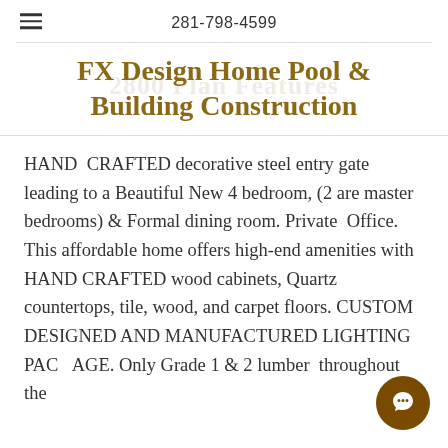281-798-4599
FX Design Home Pool & Building Construction
HAND CRAFTED decorative steel entry gate leading to a Beautiful New 4 bedroom, (2 are master bedrooms) & Formal dining room. Private Office. This affordable home offers high-end amenities with HAND CRAFTED wood cabinets, Quartz countertops, tile, wood, and carpet floors. CUSTOM DESIGNED AND MANUFACTURED LIGHTING PACKAGE. Only Grade 1 & 2 lumber throughout the